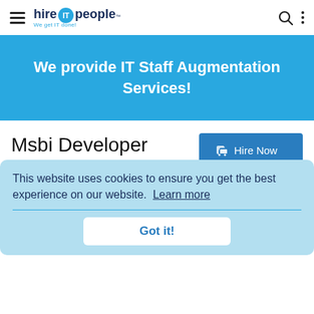hire IT people — We get IT done!
We provide IT Staff Augmentation Services!
Msbi Developer Resume
Seattle, WA
SUMMARY
This website uses cookies to ensure you get the best experience on our website. Learn more
Over 7+ years of Experience in SQL server databases and